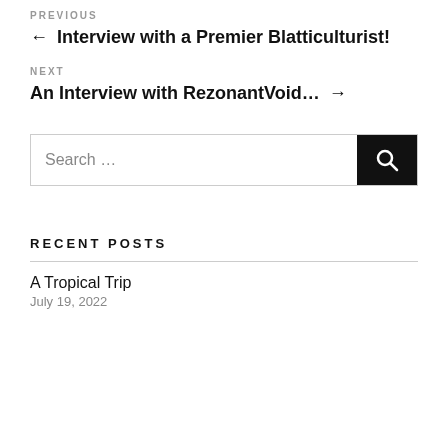PREVIOUS
← Interview with a Premier Blatticulturist!
NEXT
An Interview with RezonantVoid… →
Search …
RECENT POSTS
A Tropical Trip
July 19, 2022